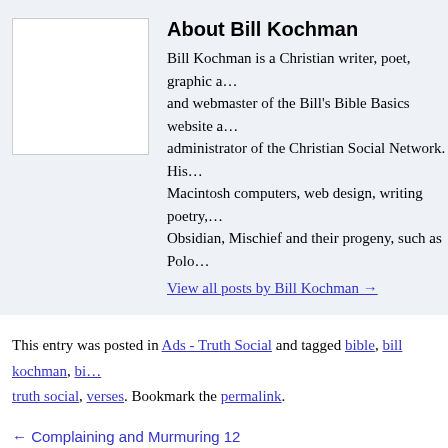[Figure (photo): Author avatar placeholder image (white box)]
About Bill Kochman
Bill Kochman is a Christian writer, poet, graphic a… and webmaster of the Bill's Bible Basics website a… administrator of the Christian Social Network. His… Macintosh computers, web design, writing poetry,… Obsidian, Mischief and their progeny, such as Polo…
View all posts by Bill Kochman →
This entry was posted in Ads - Truth Social and tagged bible, bill kochman, bi… truth social, verses. Bookmark the permalink.
← Complaining and Murmuring 12
Leave a Reply
Your email address will not be published. Required fields are m…
Comment *